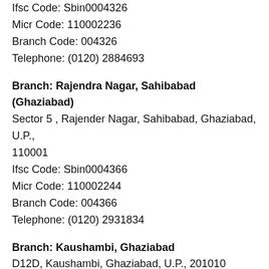Ifsc Code: Sbin0004326
Micr Code: 110002236
Branch Code: 004326
Telephone: (0120) 2884693
Branch: Rajendra Nagar, Sahibabad (Ghaziabad)
Sector 5 , Rajender Nagar, Sahibabad, Ghaziabad, U.P., 110001
Ifsc Code: Sbin0004366
Micr Code: 110002244
Branch Code: 004366
Telephone: (0120) 2931834
Branch: Kaushambi, Ghaziabad
D12D, Kaushambi, Ghaziabad, U.P., 201010
Ifsc Code: Sbin0011946
Micr Code: 110002305